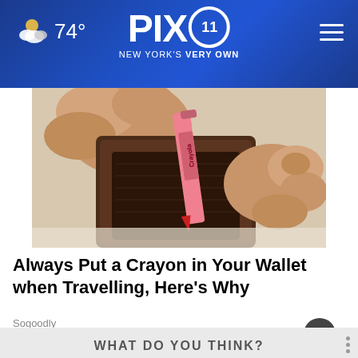PIX 11 NEW YORK'S VERY OWN — 74°
[Figure (photo): Hands holding open a brown leather wallet with a pink Crayola crayon inside]
Always Put a Crayon in Your Wallet when Travelling, Here's Why
Sogoodly
Oxford Instruments
High resolution benchtop NMR spectroscopy,
without liquid nitrogen or liquid helium
WHAT DO YOU THINK?